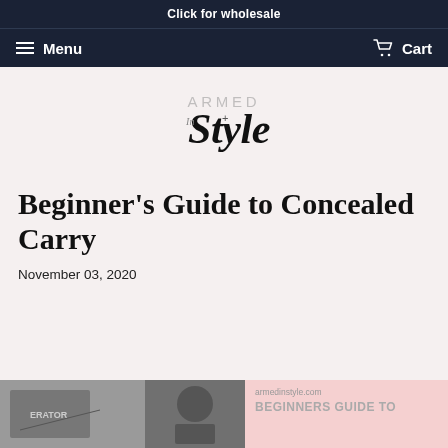Click for wholesale
Menu   Cart
[Figure (logo): Armed In Style logo — 'ARMED' in light grey uppercase letters, 'In' in small italic, a small cross/plus symbol, and 'Style' in large bold italic cursive script]
Beginner's Guide to Concealed Carry
November 03, 2020
[Figure (photo): Bottom row of article preview images: two black and white photos on the left, and a pink card on the right reading 'armedinstyle.com BEGINNERS GUIDE TO']